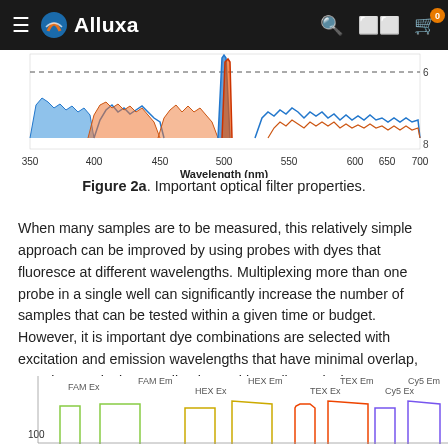Alluxa
[Figure (continuous-plot): Partial view of optical filter spectrum chart showing wavelength (nm) on x-axis from 350 to 700 nm, with blue and orange spectral curves. X-axis label: Wavelength (nm).]
Figure 2a. Important optical filter properties.
When many samples are to be measured, this relatively simple approach can be improved by using probes with dyes that fluoresce at different wavelengths. Multiplexing more than one probe in a single well can significantly increase the number of samples that can be tested within a given time or budget. However, it is important dye combinations are selected with excitation and emission wavelengths that have minimal overlap, to reduce optical crosstalk, along with quality optical components.
[Figure (continuous-plot): Partial bottom chart showing FAM Ex, FAM Em, HEX Ex, HEX Em, TEX Ex, TEX Em, Cy5 Ex, Cy5 Em filter bands with colored curves, y-axis starting at 100.]